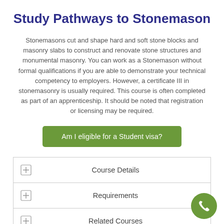Study Pathways to Stonemason
Stonemasons cut and shape hard and soft stone blocks and masonry slabs to construct and renovate stone structures and monumental masonry. You can work as a Stonemason without formal qualifications if you are able to demonstrate your technical competency to employers. However, a certificate III in stonemasonry is usually required. This course is often completed as part of an apprenticeship. It should be noted that registration or licensing may be required.
Am I eligible for a Student visa?
Course Details
Requirements
Related Courses